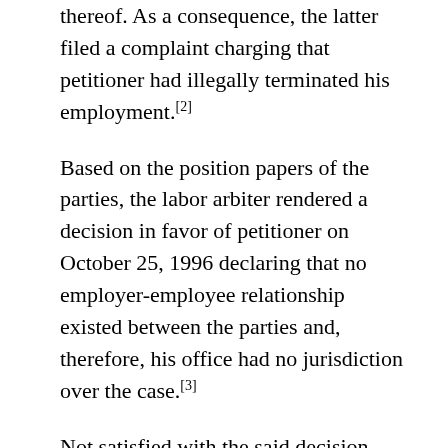thereof. As a consequence, the latter filed a complaint charging that petitioner had illegally terminated his employment.[2]
Based on the position papers of the parties, the labor arbiter rendered a decision in favor of petitioner on October 25, 1996 declaring that no employer-employee relationship existed between the parties and, therefore, his office had no jurisdiction over the case.[3]
Not satisfied with the said decision, private respondent appealed to the NLRC contending that the labor arbiter erred (1) in not giving credence to the evidence submitted by him; (2) in holding that he worked as a "volunteer" and not as an employee of St. Martin Funeral Home from February 6, 1995 to January 23, 1996, or a period